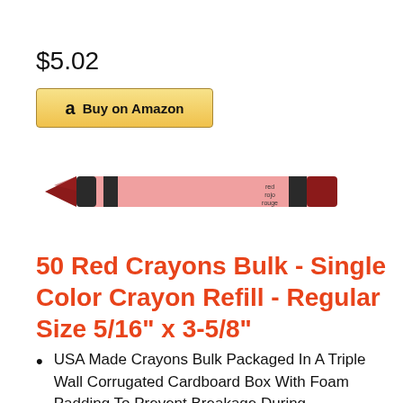$5.02
Buy on Amazon
[Figure (photo): A single red crayon with black label bands, text reading 'red rojo rouge' on the label, dark red tip on left, flat end on right.]
50 Red Crayons Bulk - Single Color Crayon Refill - Regular Size 5/16" x 3-5/8"
USA Made Crayons Bulk Packaged In A Triple Wall Corrugated Cardboard Box With Foam Padding To Prevent Breakage During